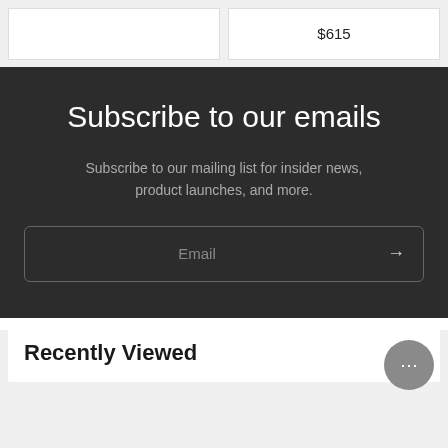$615
Subscribe to our emails
Subscribe to our mailing list for insider news, product launches, and more.
Email
Recently Viewed